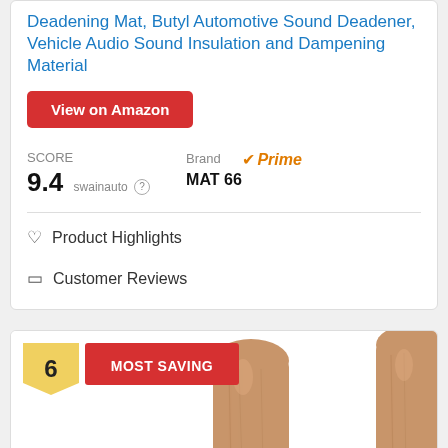Deadening Mat, Butyl Automotive Sound Deadener, Vehicle Audio Sound Insulation and Dampening Material
View on Amazon
SCORE
9.4 swainauto
Brand
Prime
MAT 66
Product Highlights
Customer Reviews
[Figure (photo): Three wooden cylindrical objects on a white background with number 6 badge and MOST SAVING tag]